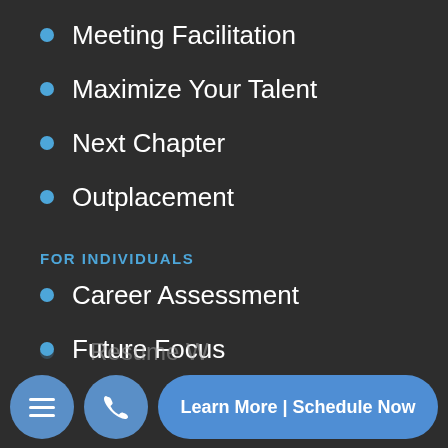Meeting Facilitation
Maximize Your Talent
Next Chapter
Outplacement
FOR INDIVIDUALS
Career Assessment
Future Focus
Next Chapter
Entrepreneurial Exploration
Resume W…
Learn More | Schedule Now